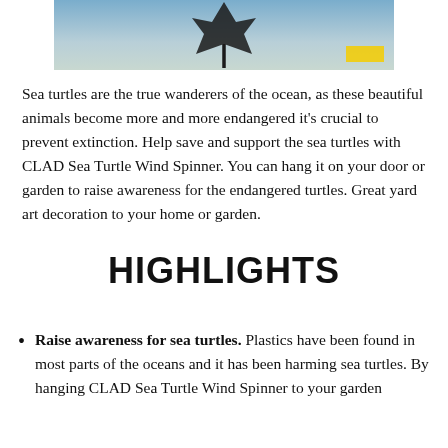[Figure (photo): Partial view of a CLAD Sea Turtle Wind Spinner hanging outdoors against a blue-green background, with a small yellow tag visible in the lower right corner.]
Sea turtles are the true wanderers of the ocean, as these beautiful animals become more and more endangered it's crucial to prevent extinction. Help save and support the sea turtles with CLAD Sea Turtle Wind Spinner. You can hang it on your door or garden to raise awareness for the endangered turtles. Great yard art decoration to your home or garden.
HIGHLIGHTS
Raise awareness for sea turtles. Plastics have been found in most parts of the oceans and it has been harming sea turtles. By hanging CLAD Sea Turtle Wind Spinner to your garden